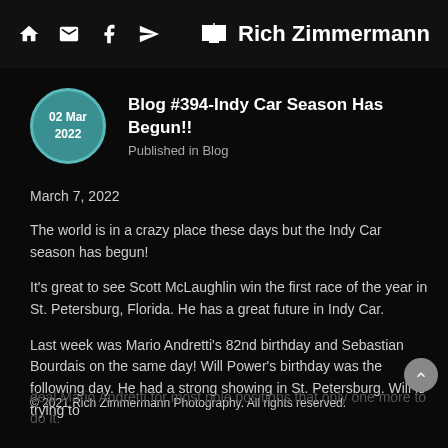Rich Zimmermann (navigation header with home, mail, facebook, share icons)
Blog #394-Indy Car Season Has Begun!!
Published in Blog
March 7, 2022
The world is in a crazy place these days but the Indy Car season has begun!
It's great to see Scott McLaughlin win the first race of the year in St. Petersburg, Florida. He has a great future in Indy Car.
Last week was Mario Andretti's 82nd birthday and Sebastian Bourdais on the same day! Will Power's birthday was the following day. He had a strong showing in St. Petersburg. Will is trying to
© 2021 Rich Zimmermann Photography. All rights reserved.
deal Mario Andretti for most pole positions that only one more to do it.